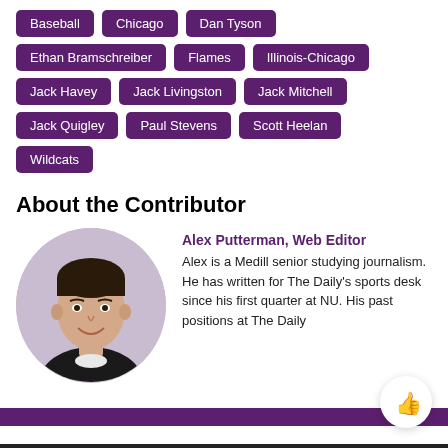Baseball
Chicago
Dan Tyson
Ethan Bramschreiber
Flames
Illinois-Chicago
Jack Havey
Jack Livingston
Jack Mitchell
Jack Quigley
Paul Stevens
Scott Heelan
Wildcats
About the Contributor
[Figure (photo): Headshot of Alex Putterman, a young man with dark hair wearing a black shirt, smiling]
Alex Putterman, Web Editor
Alex is a Medill senior studying journalism. He has written for The Daily's sports desk since his first quarter at NU. His past positions at The Daily